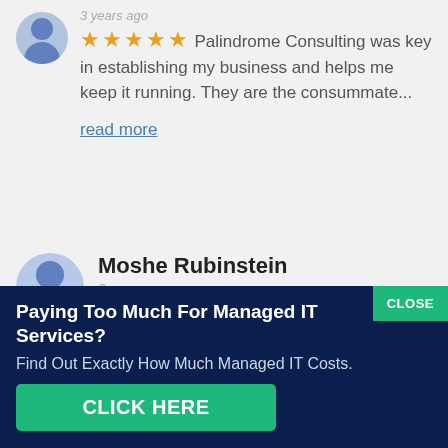3 years ago
★★★★★ Palindrome Consulting was key in establishing my business and helps me keep it running.  They are the consummate...
read more
Moshe Rubinstein
3 years ago
★★★★★
Paying Too Much For Managed IT Services?
Find Out Exactly How Much Managed IT Costs.
CLICK HERE
CLOSE